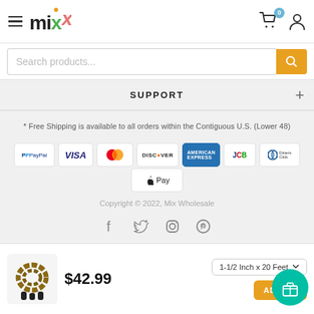mix logo, cart icon with 0 badge, user icon
Search products...
SUPPORT
* Free Shipping is available to all orders within the Contiguous U.S. (Lower 48)
[Figure (logo): Payment method logos: PayPal, VISA, Mastercard, DISCOVER, American Express, JCB, Diners Club, Apple Pay]
Copyright © 2022, Mix Wholesale
[Figure (infographic): Social media icons: Facebook, Twitter, Instagram, Pinterest]
[Figure (photo): Product image: rope/jump rope]
$42.99
1-1/2 Inch x 20 Feet
ADD TO